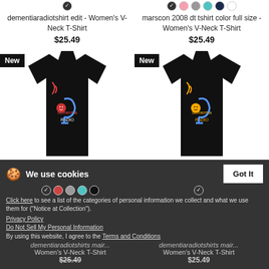dementiaradiotshirt edit - Women's V-Neck T-Shirt
$25.49
marscon 2008 dt tshirt color full size - Women's V-Neck T-Shirt
$25.49
[Figure (photo): Black women's V-neck t-shirt with Dementia Radio logo in red and blue, labeled New]
[Figure (photo): Black women's V-neck t-shirt with Dementia Radio logo in yellow and blue, labeled New]
We use cookies
Click here to see a list of the categories of personal information we collect and what we use them for ("Notice at Collection").
Privacy Policy
Do Not Sell My Personal Information
By using this website, I agree to the Terms and Conditions
Women's V-Neck T-Shirt
Women's V-Neck T-Shirt
$25.49
$25.49